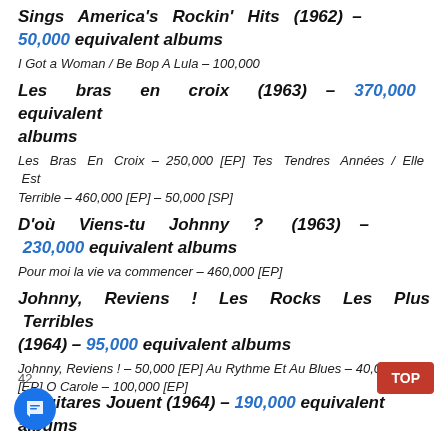Sings America's Rockin' Hits (1962) – 50,000 equivalent albums
I Got a Woman / Be Bop A Lula – 100,000
Les bras en croix (1963) – 370,000 equivalent albums
Les Bras En Croix – 250,000 [EP] Tes Tendres Années / Elle Est Terrible – 460,000 [EP] – 50,000 [SP]
D'où Viens-tu Johnny ? (1963) – 230,000 equivalent albums
Pour moi la vie va commencer – 460,000 [EP]
Johnny, Reviens ! Les Rocks Les Plus Terribles (1964) – 95,000 equivalent albums
Johnny, Reviens ! – 50,000 [EP] Au Rythme Et Au Blues – 40,000 [EP] O Carole – 100,000 [EP]
Les Guitares Jouent (1964) – 190,000 equivalent albums